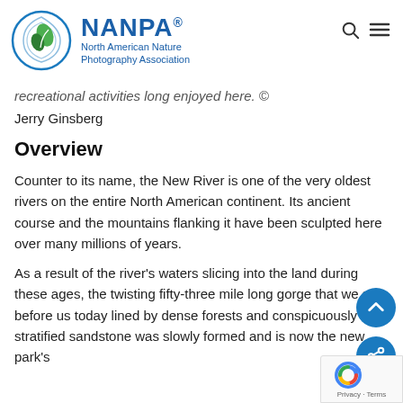NANPA North American Nature Photography Association
recreational activities long enjoyed here. © Jerry Ginsberg
Overview
Counter to its name, the New River is one of the very oldest rivers on the entire North American continent. Its ancient course and the mountains flanking it have been sculpted here over many millions of years.
As a result of the river's waters slicing into the land during these ages, the twisting fifty-three mile long gorge that we see before us today lined by dense forests and conspicuously stratified sandstone was slowly formed and is now the new park's